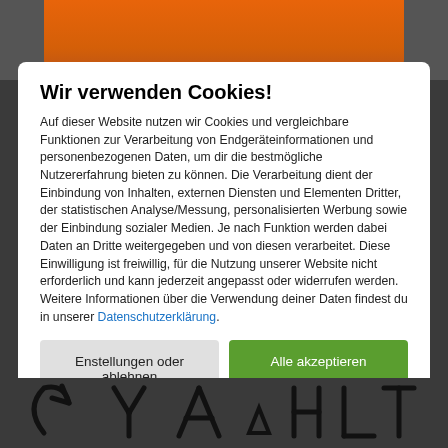[Figure (photo): Background showing top portion of person wearing orange sweater and jeans, with dark overlay]
Wir verwenden Cookies!
Auf dieser Website nutzen wir Cookies und vergleichbare Funktionen zur Verarbeitung von Endgeräteinformationen und personenbezogenen Daten, um dir die bestmögliche Nutzererfahrung bieten zu können. Die Verarbeitung dient der Einbindung von Inhalten, externen Diensten und Elementen Dritter, der statistischen Analyse/Messung, personalisierten Werbung sowie der Einbindung sozialer Medien. Je nach Funktion werden dabei Daten an Dritte weitergegeben und von diesen verarbeitet. Diese Einwilligung ist freiwillig, für die Nutzung unserer Website nicht erforderlich und kann jederzeit angepasst oder widerrufen werden. Weitere Informationen über die Verwendung deiner Daten findest du in unserer Datenschutzerklärung.
Enstellungen oder ablehnen
Alle akzeptieren
[Figure (logo): Logo symbols at bottom of page]